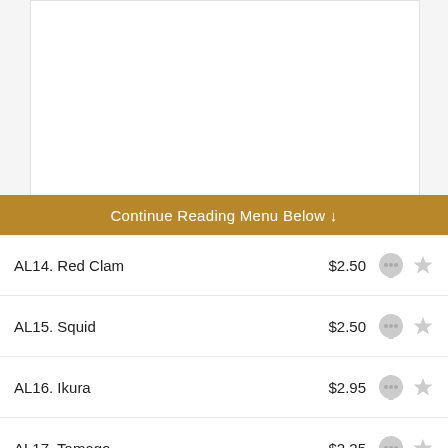[Figure (photo): White/blank image area at top of page]
Continue Reading Menu Below ↓
AL14. Red Clam  $2.50
AL15. Squid  $2.50
AL16. Ikura  $2.95
AL17. Tamago  $2.25
AL18. Spicy Tuna  $2.95
AL19. Red Snapper  $2.50
AL20. Smoked Salmon  $2.75